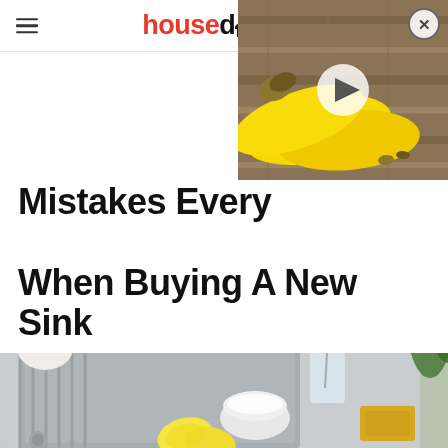housedigest
[Figure (photo): Video thumbnail showing bananas on a wooden surface with a play button overlay and close button]
Mistakes Everyone Makes When Buying A New Sink
[Figure (photo): Kitchen sink with faucet, cleaning supplies including a glass bottle, lemon halves, baking soda in a bowl, and a yellow sponge on a stainless steel surface]